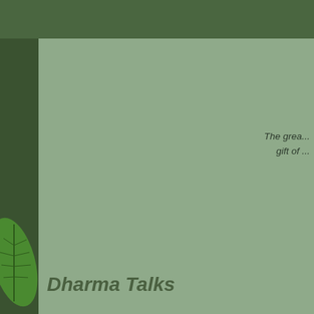The great gift of
Dharma Talks
Search Titles and Descriptions
Sort order: Sorted by recording date (newest to oldest)  Items on page:
« previous  next »  1  2  3  4  ...  24  25  26  27  3682  3683  3684